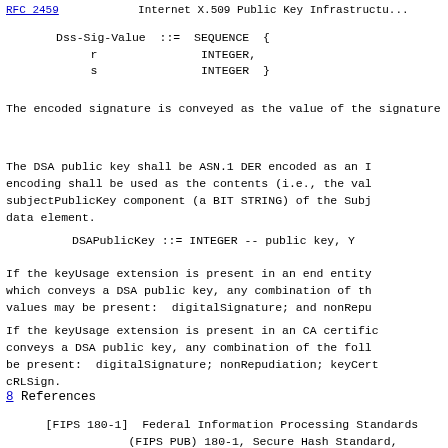RFC 2459    Internet X.509 Public Key Infrastructure
The encoded signature is conveyed as the value of the signature in a Certificate or CertificateList.
The DSA public key shall be ASN.1 DER encoded as an INTEGER; this encoding shall be used as the contents (i.e., the value) of the subjectPublicKey component (a BIT STRING) of the SubjectPublicKeyInfo data element.
If the keyUsage extension is present in an end entity certificate which conveys a DSA public key, any combination of the following values may be present:  digitalSignature; and nonRepudiation.
If the keyUsage extension is present in an CA certificate which conveys a DSA public key, any combination of the following values may be present:  digitalSignature; nonRepudiation; keyCertSign; and cRLSign.
8 References
[FIPS 180-1]  Federal Information Processing Standards Publication (FIPS PUB) 180-1, Secure Hash Standard, [Supersedes FIPS PUB 180 dated 11 May 19